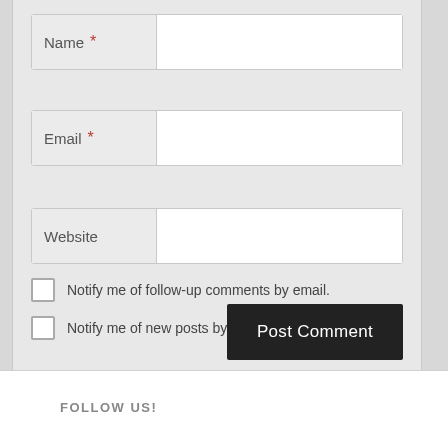[Figure (screenshot): Web comment form with Name, Email, Website input fields, two checkboxes for email notifications, and a Post Comment button]
FOLLOW US!